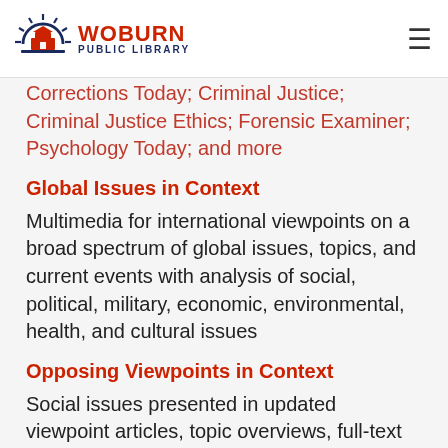Woburn Public Library
Corrections Today; Criminal Justice; Criminal Justice Ethics; Forensic Examiner; Psychology Today; and more
Global Issues in Context
Multimedia for international viewpoints on a broad spectrum of global issues, topics, and current events with analysis of social, political, military, economic, environmental, health, and cultural issues
Opposing Viewpoints in Context
Social issues presented in updated viewpoint articles, topic overviews, full-text magazines, academic journals, news articles, primary source documents, statistics, images, videos, audio files, and links to trusted websites